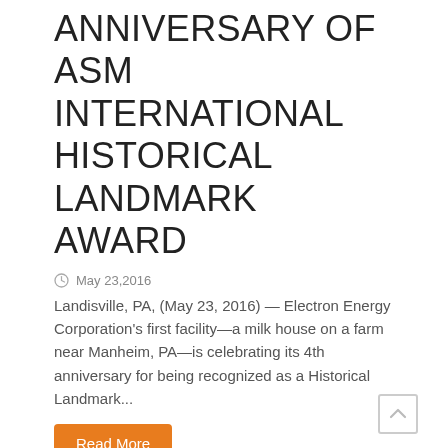ANNIVERSARY OF ASM INTERNATIONAL HISTORICAL LANDMARK AWARD
May 23,2016
Landisville, PA, (May 23, 2016) — Electron Energy Corporation's first facility—a milk house on a farm near Manheim, PA—is celebrating its 4th anniversary for being recognized as a Historical Landmark...
Read More
Electron Energy Corporation featured in Business In Focus
May 17,2016
Landisville, PA (May 17, 2016) — Electron Energy